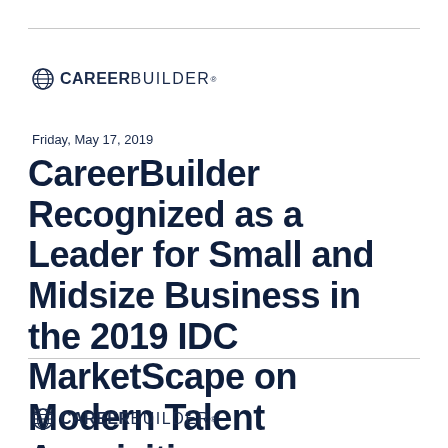[Figure (logo): CareerBuilder logo with globe icon, top of page]
Friday, May 17, 2019
CareerBuilder Recognized as a Leader for Small and Midsize Business in the 2019 IDC MarketScape on Modern Talent Acquisition
[Figure (logo): CareerBuilder logo with globe icon, bottom of page]